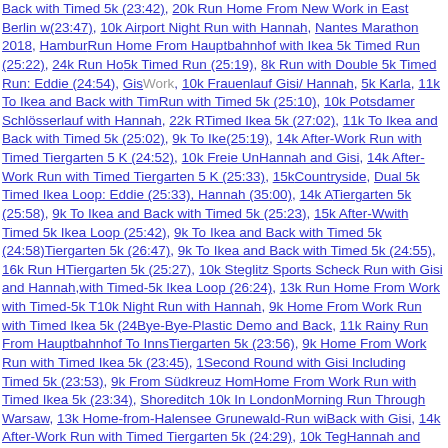Back with Timed 5k (23:42), 20k Run Home From New Work in East Berlin with (23:47), 10k Airport Night Run with Hannah, Nantes Marathon 2018, Hamburg Run Home From Hauptbahnhof with Ikea 5k Timed Run (25:22), 24k Run Home 5k Timed Run (25:19), 8k Run with Double 5k Timed Run: Eddie (24:54), Gisi Work, 10k Frauenlauf Gisi/ Hannah, 5k Karla, 11k To Ikea and Back with Timed Run with Timed 5k (25:10), 10k Potsdamer Schlösserlauf with Hannah, 22k Run Timed Ikea 5k (27:02), 11k To Ikea and Back with Timed 5k (25:02), 9k To Ikea (25:19), 14k After-Work Run with Timed Tiergarten 5 K (24:52), 10k Freie Uni Hannah and Gisi, 14k After-Work Run with Timed Tiergarten 5 K (25:33), 15k Countryside, Dual 5k Timed Ikea Loop: Eddie (25:33), Hannah (35:00), 14k After Tiergarten 5k (25:58), 9k To Ikea and Back with Timed 5k (25:23), 15k After-Work with Timed 5k Ikea Loop (25:42), 9k To Ikea and Back with Timed 5k (24:58), Tiergarten 5k (26:47), 9k To Ikea and Back with Timed 5k (24:55), 16k Run Home Tiergarten 5k (25:27), 10k Steglitz Sports Scheck Run with Gisi and Hannah, with Timed-5k Ikea Loop (26:24), 13k Run Home From Work with Timed-5k T 10k Night Run with Hannah, 9k Home From Work Run with Timed Ikea 5k (24-Bye-Bye-Plastic Demo and Back, 11k Rainy Run From Hauptbahnhof To Inns Tiergarten 5k (23:56), 9k Home From Work Run with Timed Ikea 5k (23:45), Second Round with Gisi Including Timed 5k (23:53), 9k From Südkreuz Home Home From Work Run with Timed Ikea 5k (23:34), Shoreditch 10k In London Morning Run Through Warsaw, 13k Home-from-Halensee Grunewald-Run with Back with Gisi, 14k After-Work Run with Timed Tiergarten 5k (24:29), 10k Teg Hannah and Gisi, 11k To Ikea and Back with Timed 5k (24:20), 20k Run Home Tiergarten 5k (23:56), 12k Run From Wilmersdorf To Tiergarten, with Timed 5k Work with Timed-5k Tiergarten Loop (23:33), 15k Sunday Run with Gisi Including (23:58), 13k Run Home From Work with Timed-5k Tiergarten Loop (23:50), P and Gisi, 42k Land-And-Water Mega Run Via Wannsee, Alt-Kladow, and Spa To Ikea and Back with Timed 5k (23:37), 11k New Year's Day Run To Ikea and 16k Tempelhof-Mariendorf-Lankwitz Run with Timed 5k (23:29), 13k After-Work (23:57), 10k Caputher Seelauf with Hannah and Gisi, 37k Land-and-Water Run with Timed 5k Spandauer Winterwaldlauf (23:19), 13k After-Work Run with Timed Steglitz-to-Zehlendorf Run with Gisi, Plânterwaldlauf with Karla, Hannah and Including 5 K Timed (23:52), and 7k with Gisi, 20k Steglitz-Dahlam-Zehlendorf